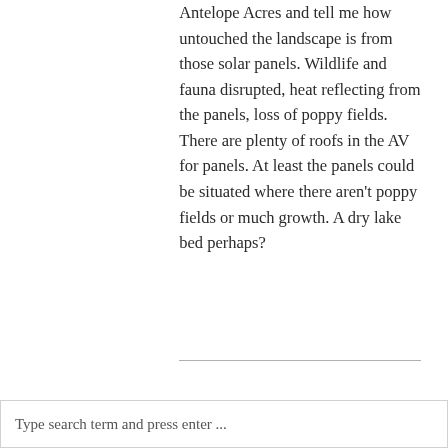Antelope Acres and tell me how untouched the landscape is from those solar panels. Wildlife and fauna disrupted, heat reflecting from the panels, loss of poppy fields. There are plenty of roofs in the AV for panels. At least the panels could be situated where there aren't poppy fields or much growth. A dry lake bed perhaps?
Type search term and press enter ...